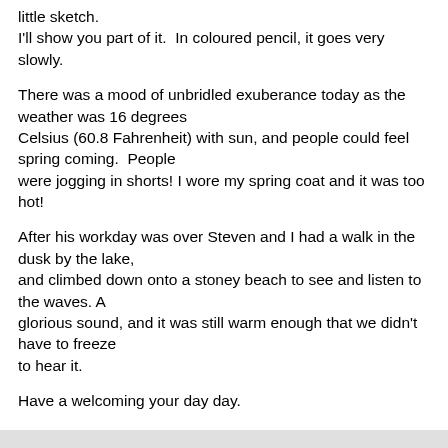little sketch.
I'll show you part of it.  In coloured pencil, it goes very slowly.
There was a mood of unbridled exuberance today as the weather was 16 degrees
Celsius (60.8 Fahrenheit) with sun, and people could feel spring coming.  People
were jogging in shorts! I wore my spring coat and it was too hot!
After his workday was over Steven and I had a walk in the dusk by the lake,
and climbed down onto a stoney beach to see and listen to the waves. A
glorious sound, and it was still warm enough that we didn't have to freeze
to hear it.
Have a welcoming your day day.